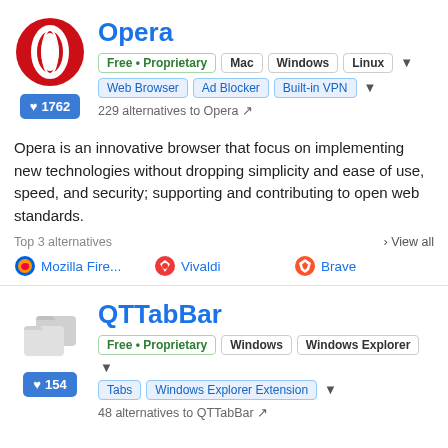Opera
Free • Proprietary  Mac  Windows  Linux  Web Browser  Ad Blocker  Built-in VPN
229 alternatives to Opera
Opera is an innovative browser that focus on implementing new technologies without dropping simplicity and ease of use, speed, and security; supporting and contributing to open web standards.
Top 3 alternatives  › View all  Mozilla Fire...  Vivaldi  Brave
QTTabBar
Free • Proprietary  Windows  Windows Explorer  Tabs  Windows Explorer Extension
48 alternatives to QTTabBar